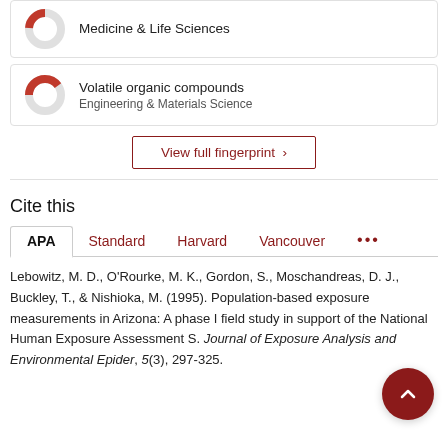[Figure (donut-chart): Donut chart for Medicine & Life Sciences (top, partially visible)]
Medicine & Life Sciences
[Figure (donut-chart): Donut chart for Volatile organic compounds, ~40% filled red, Engineering & Materials Science]
Volatile organic compounds
Engineering & Materials Science
View full fingerprint ›
Cite this
APA
Standard
Harvard
Vancouver
•••
Lebowitz, M. D., O'Rourke, M. K., Gordon, S., Moschandreas, D. J., Buckley, T., & Nishioka, M. (1995). Population-based exposure measurements in Arizona: A phase I field study in support of the National Human Exposure Assessment S. Journal of Exposure Analysis and Environmental Epider, 5(3), 297-325.